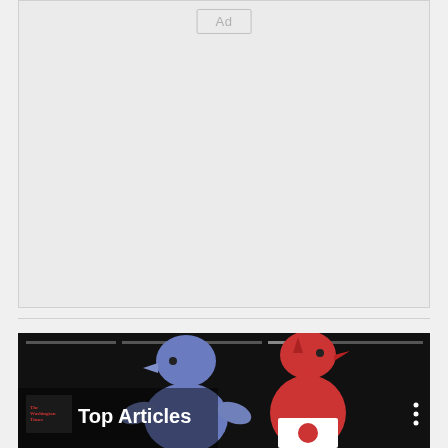[Figure (other): Ad placeholder box with light gray background and 'Ad' label in center-top]
[Figure (screenshot): Washington Times Top Articles card with dark background showing blue and red bird-like figures]